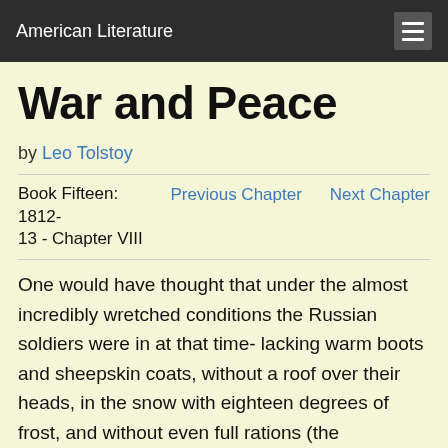American Literature
War and Peace
by Leo Tolstoy
Book Fifteen: 1812-13 - Chapter VIII   Previous Chapter   Next Chapter
One would have thought that under the almost incredibly wretched conditions the Russian soldiers were in at that time- lacking warm boots and sheepskin coats, without a roof over their heads, in the snow with eighteen degrees of frost, and without even full rations (the commissariat did not always keep up with the troops)- they would have